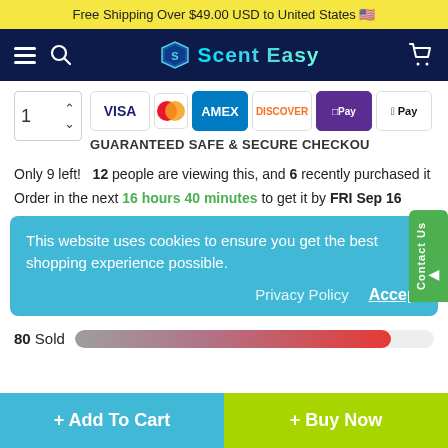Free Shipping Over $49.00 USD to United States 🇺🇸
[Figure (screenshot): ScentEasy website navigation bar with hamburger menu, search icon, logo, and cart icon on dark navy background]
[Figure (infographic): Payment method badges: VISA, Mastercard, AMEX, Discover, DPay, Apple Pay, Google Pay. GUARANTEED SAFE & SECURE CHECKOUT text below.]
Only 9 left!  12 people are viewing this, and 6 recently purchased it
Order in the next 16 hours 40 minutes to get it by FRI Sep 16
This website uses cookies to ensure you get the best shopping experience possible.
Privacy Policy   Accept
80 Sold
+ Add To Cart
+ Buy Now